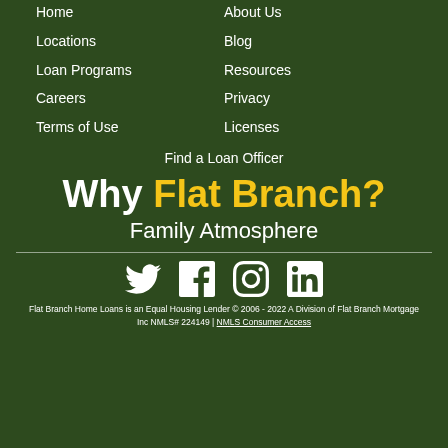Home
About Us
Locations
Blog
Loan Programs
Resources
Careers
Privacy
Terms of Use
Licenses
Find a Loan Officer
Why Flat Branch?
Family Atmosphere
[Figure (infographic): Social media icons: Twitter, Facebook, Instagram, LinkedIn]
Flat Branch Home Loans is an Equal Housing Lender © 2006 - 2022 A Division of Flat Branch Mortgage Inc NMLS# 224149 | NMLS Consumer Access